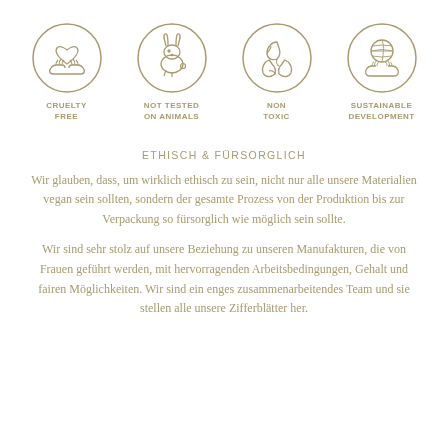[Figure (illustration): Four circular icons in olive/gold color: 1) Cruelty Free - hands holding a heart, 2) Not Tested on Animals - a rabbit, 3) Non Toxic - two leaves, 4) Sustainable Development - hands holding a globe. Each icon is enclosed in a circle outline.]
ETHISCH & FÜRSORGLICH
Wir glauben, dass, um wirklich ethisch zu sein, nicht nur alle unsere Materialien vegan sein sollten, sondern der gesamte Prozess von der Produktion bis zur Verpackung so fürsorglich wie möglich sein sollte.
Wir sind sehr stolz auf unsere Beziehung zu unseren Manufakturen, die von Frauen geführt werden, mit hervorragenden Arbeitsbedingungen, Gehalt und fairen Möglichkeiten. Wir sind ein enges zusammenarbeitendes Team und sie stellen alle unsere Zifferblätter her.